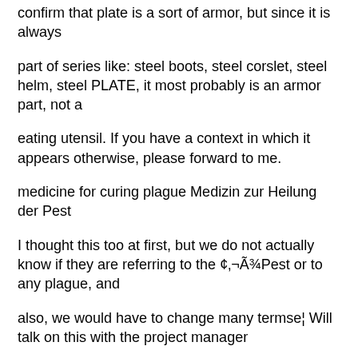confirm that plate is a sort of armor, but since it is always
part of series like: steel boots, steel corslet, steel helm, steel PLATE, it most probably is an armor part, not a
eating utensil. If you have a context in which it appears otherwise, please forward to me.
medicine for curing plague Medizin zur Heilung der Pest
I thought this too at first, but we do not actually know if they are referring to the ¢‚¬Ã¾Pest or to any plague, and
also, we would have to change many termse¦ Will talk on this with the project manager